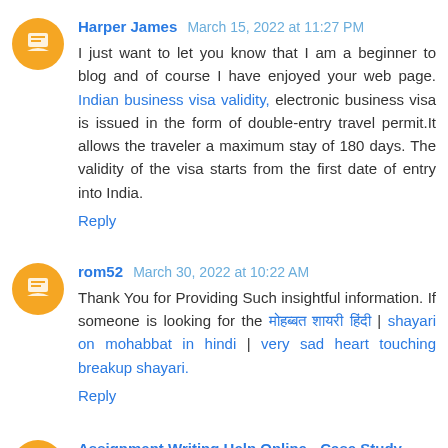Harper James March 15, 2022 at 11:27 PM
I just want to let you know that I am a beginner to blog and of course I have enjoyed your web page. Indian business visa validity, electronic business visa is issued in the form of double-entry travel permit.It allows the traveler a maximum stay of 180 days. The validity of the visa starts from the first date of entry into India.
Reply
rom52 March 30, 2022 at 10:22 AM
Thank You for Providing Such insightful information. If someone is looking for the मोहब्बत शायरी हिंदी | shayari on mohabbat in hindi | very sad heart touching breakup shayari.
Reply
Assignment Writing Help Online - Case Study